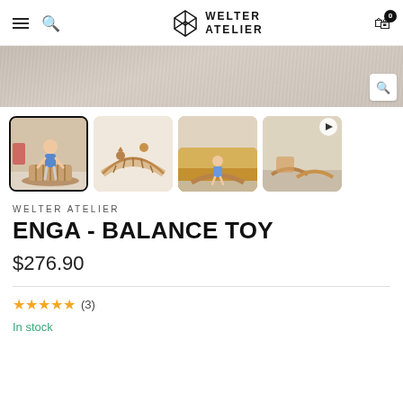WELTER ATELIER — navigation header with hamburger, search, logo, and cart (0 items)
[Figure (photo): Cropped product hero image showing a fuzzy light grey rug surface with a zoom/search button in the bottom right corner]
[Figure (photo): Four product thumbnails in a row: (1) child sitting on wooden balance toy rocker in a room with red chair — selected/active, (2) wooden balance toy rocker standalone product shot, (3) child playing on curved wooden balance board near yellow sofa, (4) video thumbnail showing balance toy set with play button overlay]
WELTER ATELIER
ENGA - BALANCE TOY
$276.90
★★★★★ (3)
In stock